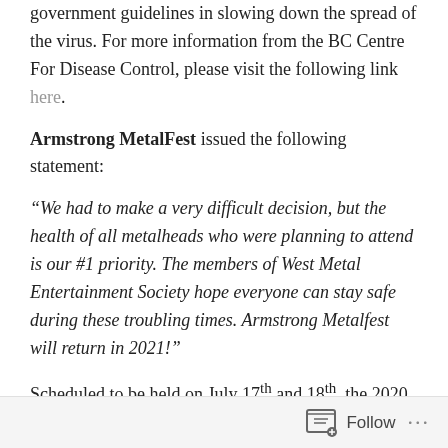government guidelines in slowing down the spread of the virus. For more information from the BC Centre For Disease Control, please visit the following link here.
Armstrong MetalFest issued the following statement:
“We had to make a very difficult decision, but the health of all metalheads who were planning to attend is our #1 priority. The members of West Metal Entertainment Society hope everyone can stay safe during these troubling times. Armstrong Metalfest will return in 2021!”
Scheduled to be held on July 17th and 18th, the 2020 line up was to be the 12th year for British Columbia’s largest, loudest and premier event for
Follow ...